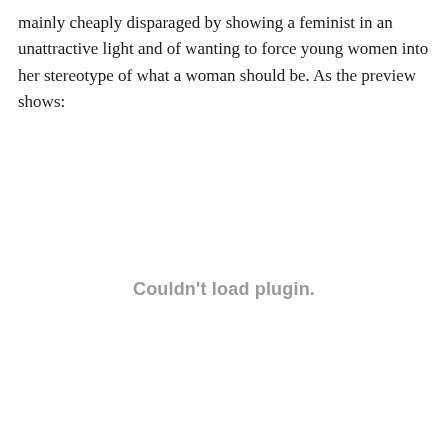mainly cheaply disparaged by showing a feminist in an unattractive light and of wanting to force young women into her stereotype of what a woman should be. As the preview shows:
[Figure (other): Embedded plugin content area showing 'Couldn't load plugin.' error message — a video or media embed that failed to load.]